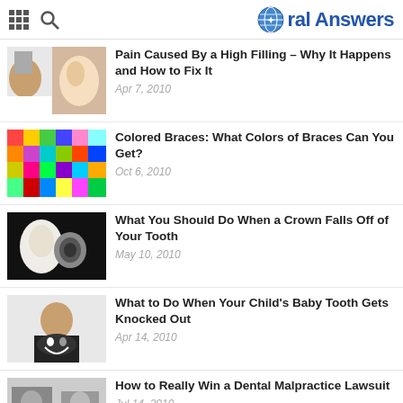Oral Answers
Pain Caused By a High Filling – Why It Happens and How to Fix It
Apr 7, 2010
Colored Braces: What Colors of Braces Can You Get?
Oct 6, 2010
What You Should Do When a Crown Falls Off of Your Tooth
May 10, 2010
What to Do When Your Child's Baby Tooth Gets Knocked Out
Apr 14, 2010
How to Really Win a Dental Malpractice Lawsuit
Jul 14, 2010